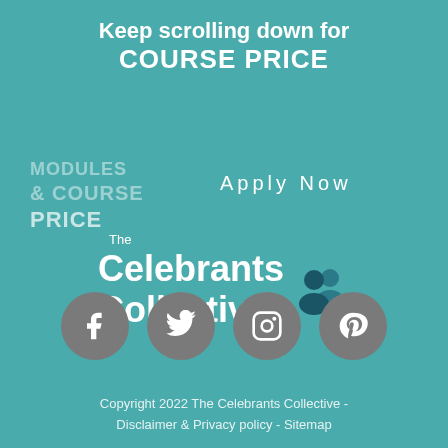Keep scrolling down for COURSE PRICE
MODULES & COURSE PRICE
Apply Now
[Figure (logo): The Celebrants Collective logo with two person icons in dark teal]
[Figure (infographic): Four social media icons in grey circles: Facebook, Twitter, Instagram, Pinterest]
Copyright 2022 The Celebrants Collective - Disclaimer & Privacy policy - Sitemap